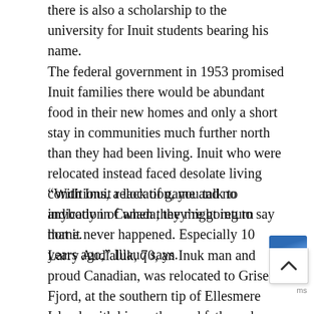there is also a scholarship to the university for Inuit students bearing his name.
The federal government in 1953 promised Inuit families there would be abundant food in their new homes and only a short stay in communities much further north than they had been living. Inuit who were relocated instead faced desolate living conditions, a lack of game and no indication of when they might return home.
“With Inuit relocation, you talk to anybody in Canada, they’re going to say that it never happened. Especially 10 years ago,” Illauq says.
Larry Audlaluk, 70, an Inuk man and proud Canadian, was relocated to Grise Fjord, at the southern tip of Ellesmere Island, with his mother and father when he was two. A proclaimed historian” and hunter, he says “for many Canadians, we are still the means of how they can get